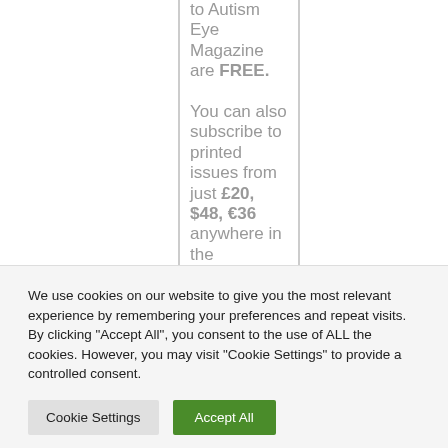to Autism Eye Magazine are FREE. You can also subscribe to printed issues from just £20, $48, €36 anywhere in the
We use cookies on our website to give you the most relevant experience by remembering your preferences and repeat visits. By clicking "Accept All", you consent to the use of ALL the cookies. However, you may visit "Cookie Settings" to provide a controlled consent.